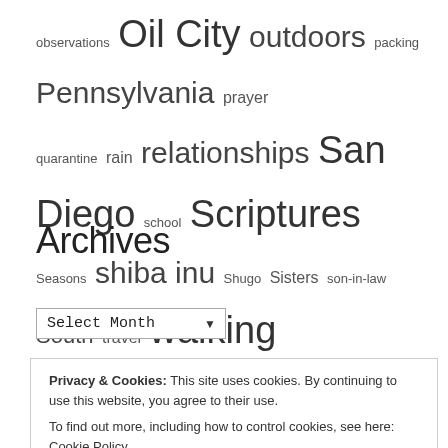observations Oil City outdoors packing Pennsylvania prayer quarantine rain relationships San Diego school Scriptures Seasons shiba inu Shugo Sisters son-in-law South travel walking weather winter writing
Archives
Select Month
Privacy & Cookies: This site uses cookies. By continuing to use this website, you agree to their use. To find out more, including how to control cookies, see here: Cookie Policy
Close and accept
At the stroke of twelve midnight. ...